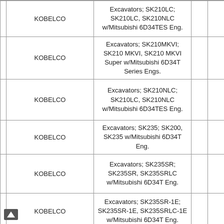|  | Make/Brand | Model/Equipment Description |  |  |
| --- | --- | --- | --- | --- |
| KOBELCO | Excavators; SK210LC; SK210LC, SK210NLC w/Mitsubishi 6D34TES Eng. |  |  |
| KOBELCO | Excavators; SK210MKVI; SK210 MKVI, SK210 MKVI Super w/Mitsubishi 6D34T Series Engs. |  |  |
| KOBELCO | Excavators; SK210NLC; SK210LC, SK210NLC w/Mitsubishi 6D34TES Eng. |  |  |
| KOBELCO | Excavators; SK235; SK200, SK235 w/Mitsubishi 6D34T Eng. |  |  |
| KOBELCO | Excavators; SK235SR; SK235SR, SK235SRLC w/Mitsubishi 6D34T Eng. |  |  |
| KOBELCO | Excavators; SK235SR-1E; SK235SR-1E, SK235SRLC-1E w/Mitsubishi 6D34T Eng. |  |  |